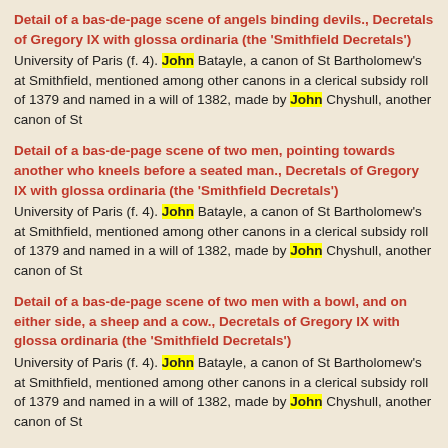Detail of a bas-de-page scene of angels binding devils., Decretals of Gregory IX with glossa ordinaria (the 'Smithfield Decretals')
University of Paris (f. 4). John Batayle, a canon of St Bartholomew's at Smithfield, mentioned among other canons in a clerical subsidy roll of 1379 and named in a will of 1382, made by John Chyshull, another canon of St
Detail of a bas-de-page scene of two men, pointing towards another who kneels before a seated man., Decretals of Gregory IX with glossa ordinaria (the 'Smithfield Decretals')
University of Paris (f. 4). John Batayle, a canon of St Bartholomew's at Smithfield, mentioned among other canons in a clerical subsidy roll of 1379 and named in a will of 1382, made by John Chyshull, another canon of St
Detail of a bas-de-page scene of two men with a bowl, and on either side, a sheep and a cow., Decretals of Gregory IX with glossa ordinaria (the 'Smithfield Decretals')
University of Paris (f. 4). John Batayle, a canon of St Bartholomew's at Smithfield, mentioned among other canons in a clerical subsidy roll of 1379 and named in a will of 1382, made by John Chyshull, another canon of St
Detail of a bas-de-page scene of a group of men, two men seated and three standing., Decretals of Gregory IX with glossa ordinaria (the 'Smithfield Decretals')
University of Paris (f. 4). John Batayle, a canon of St Bartholomew's at Smithfield, mentioned among other canons in a clerical subsidy roll of 1379 and named in a will of 1382, made by John Chyshull, another